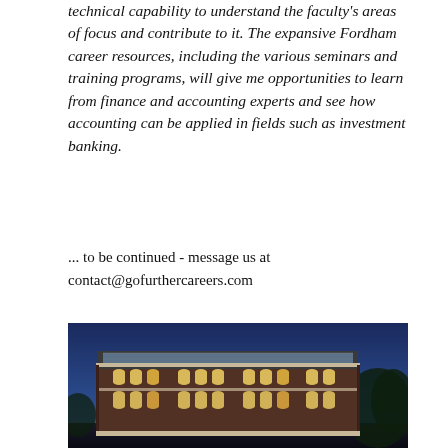technical capability to understand the faculty's areas of focus and contribute to it. The expansive Fordham career resources, including the various seminars and training programs, will give me opportunities to learn from finance and accounting experts and see how accounting can be applied in fields such as investment banking.
... to be continued - message us at contact@gofurthercareers.com
[Figure (photo): Exterior photo of a multi-story brick university building with arched windows and a glass-topped roof structure, photographed at dusk with a deep blue sky. Trees are visible on the right side. Lights are on inside the building.]